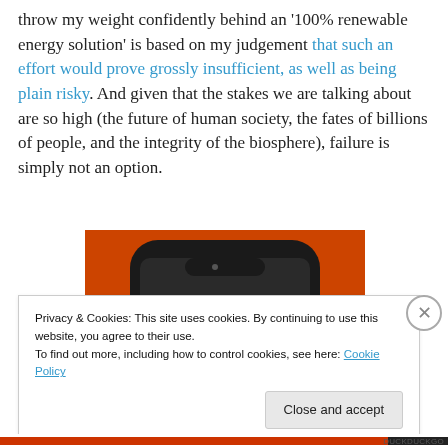throw my weight confidently behind an '100% renewable energy solution' is based on my judgement that such an effort would prove grossly insufficient, as well as being plain risky. And given that the stakes we are talking about are so high (the future of human society, the fates of billions of people, and the integrity of the biosphere), failure is simply not an option.
[Figure (photo): A smartphone with a DuckDuckGo app/logo displayed on screen, shown against an orange background.]
Privacy & Cookies: This site uses cookies. By continuing to use this website, you agree to their use.
To find out more, including how to control cookies, see here: Cookie Policy